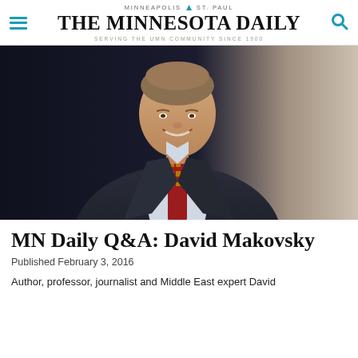MINNEAPOLIS  ST. PAUL
THE MINNESOTA DAILY
SERVING THE UMN COMMUNITY SINCE 1900
[Figure (photo): Portrait photo of a smiling middle-aged man in a dark suit jacket, light blue dress shirt, and red patterned tie, against a dark background that fades to light on the right.]
MN Daily Q&A: David Makovsky
Published February 3, 2016
Author, professor, journalist and Middle East expert David